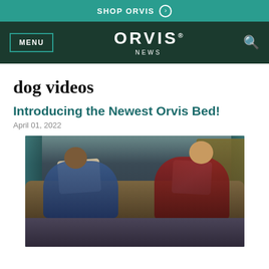SHOP ORVIS
ORVIS NEWS — MENU
dog videos
Introducing the Newest Orvis Bed!
April 01, 2022
[Figure (photo): A man and a woman sleeping together on a large dog bed or couch, with pillows and blankets, in a dimly lit room with teal curtains in the background.]